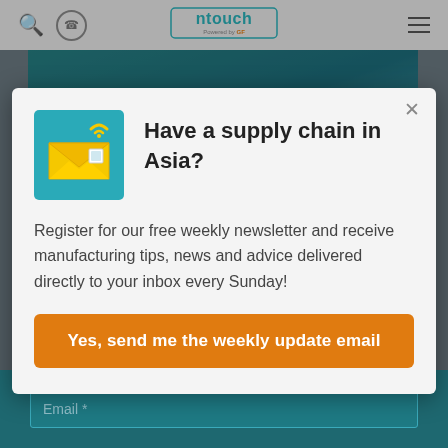[Figure (screenshot): Website navigation bar with search icon, circular icon, InTouch by GF logo, and hamburger menu]
[Figure (photo): Teal/blue background hero image area showing clothing fabric]
[Figure (infographic): Modal popup overlay with newsletter signup. Contains envelope icon with wifi signal on teal background, headline 'Have a supply chain in Asia?', body text about free weekly newsletter, and orange CTA button]
Have a supply chain in Asia?
Register for our free weekly newsletter and receive manufacturing tips, news and advice delivered directly to your inbox every Sunday!
Yes, send me the weekly update email
Email *